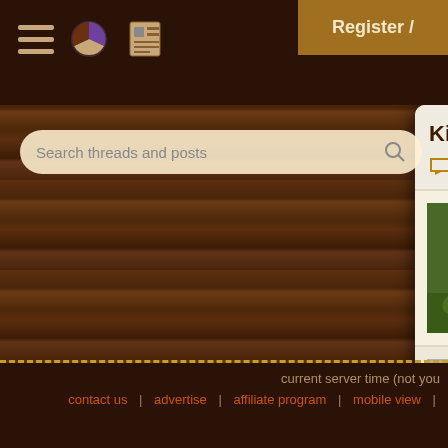Navigation bar with hamburger menu, pie icon, news icon, and Register button
Search threads and posts
Kick ass article in Kultu... | 2 replies
How to Enjoy Permacu... | 14 replies
Marketing: My 100 Thin... | 14 replies
Podcast 346 - Ant Villag... | 5 replies
current server time (not you... | contact us | advertise | affiliate program | mobile view |